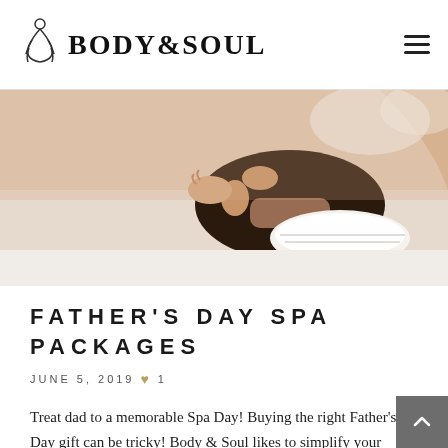BODY&SOUL
[Figure (photo): Close-up photo of a man receiving a head/neck massage at a spa, lying face down on a white towel, with a therapist's hands visible.]
FATHER'S DAY SPA PACKAGES
JUNE 5, 2019  ♥ 1
Treat dad to a memorable Spa Day! Buying the right Father's Day gift can be tricky! Body & Soul likes to simplify your